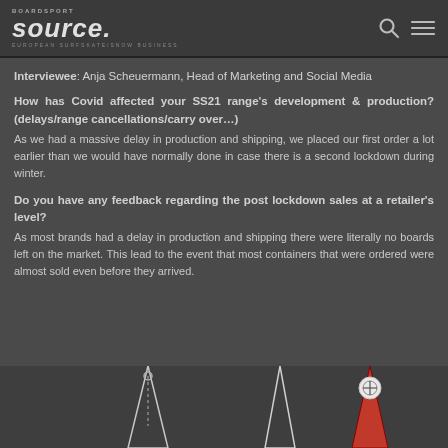BOARDSPORT SOURCE. EUROPEAN SURFSKATE/SNOW BUSINESS
Interviewee: Anja Scheuermann, Head of Marketing and Social Media
How has Covid affected your SS21 range's development & production? (delays/range cancellations/carry over…)
As we had a massive delay in production and shipping, we placed our first order a lot earlier than we would have normally done in case there is a second lockdown during winter.
Do you have any feedback regarding the post lockdown sales at a retailer's level?
As most brands had a delay in production and shipping there were literally no boards left on the market. This lead to the event that most containers that were ordered were almost sold even before they arrived.
[Figure (photo): Bottom portion of product images showing surfboards/SUP boards on dark background]